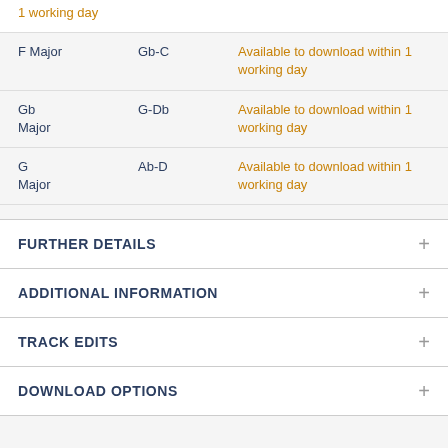| Key | Range | Availability |
| --- | --- | --- |
|  |  | 1 working day |
| F Major | Gb-C | Available to download within 1 working day |
| Gb Major | G-Db | Available to download within 1 working day |
| G Major | Ab-D | Available to download within 1 working day |
FURTHER DETAILS
ADDITIONAL INFORMATION
TRACK EDITS
DOWNLOAD OPTIONS